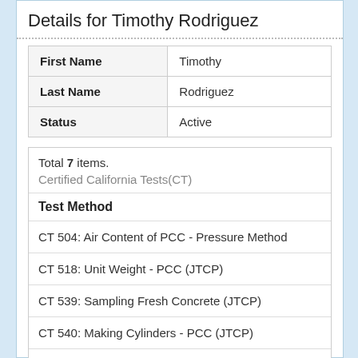Details for Timothy Rodriguez
|  |  |
| --- | --- |
| First Name | Timothy |
| Last Name | Rodriguez |
| Status | Active |
Total 7 items.
Certified California Tests(CT)
| Test Method |
| --- |
| CT 504: Air Content of PCC - Pressure Method |
| CT 518: Unit Weight - PCC (JTCP) |
| CT 539: Sampling Fresh Concrete (JTCP) |
| CT 540: Making Cylinders - PCC (JTCP) |
| CT 543: Air Content of PCC - Volumetric Metho |